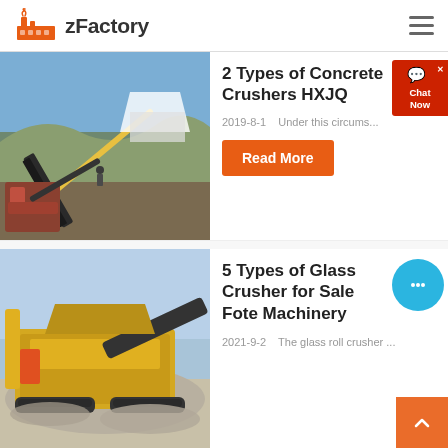zFactory
[Figure (photo): Industrial conveyor belt and crusher machinery on a construction/mining site with workers and equipment visible.]
2 Types of Concrete Crushers HXJQ
2019-8-1   Under this circums...
Read More
[Figure (photo): Large yellow industrial glass/rock crusher machine operating on a pile of crushed material.]
5 Types of Glass Crusher for Sale Fote Machinery
2021-9-2   The glass roll crusher ...